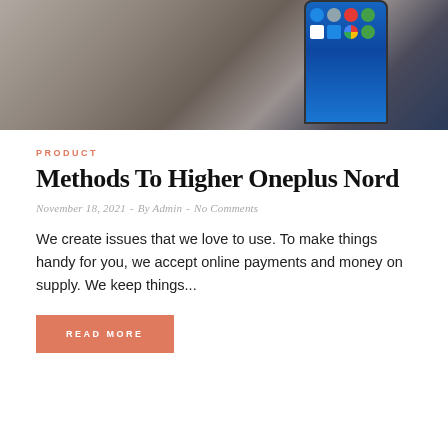[Figure (photo): Photo of a smartphone (OnePlus Nord) placed on a wooden surface, showing the phone's screen with Android app icons including Gmail, Play Store, Chrome, and WhatsApp. The background shows a blue gradient screen.]
PRODUCT
Methods To Higher Oneplus Nord
November 18, 2021  -  By Admin  -  No Comments
We create issues that we love to use. To make things handy for you, we accept online payments and money on supply. We keep things...
READ MORE